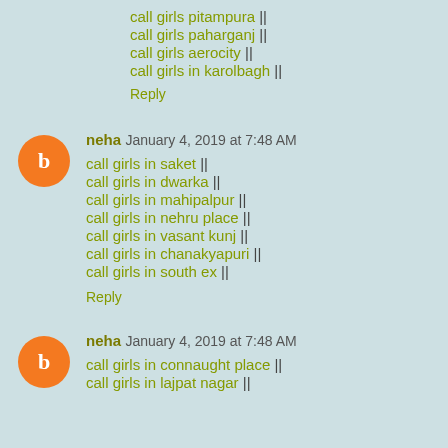call girls pitampura ||
call girls paharganj ||
call girls aerocity ||
call girls in karolbagh ||
Reply
neha  January 4, 2019 at 7:48 AM
call girls in saket ||
call girls in dwarka ||
call girls in mahipalpur ||
call girls in nehru place ||
call girls in vasant kunj ||
call girls in chanakyapuri ||
call girls in south ex ||
Reply
neha  January 4, 2019 at 7:48 AM
call girls in connaught place ||
call girls in lajpat nagar ||